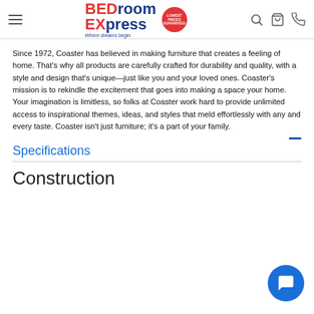BEDroom EXpress — Where dreams begin. [Logo with Lowest Prices Guaranteed badge, search, cart, phone icons]
Since 1972, Coaster has believed in making furniture that creates a feeling of home. That's why all products are carefully crafted for durability and quality, with a style and design that's unique—just like you and your loved ones. Coaster's mission is to rekindle the excitement that goes into making a space your home. Your imagination is limitless, so folks at Coaster work hard to provide unlimited access to inspirational themes, ideas, and styles that meld effortlessly with any and every taste. Coaster isn't just furniture; it's a part of your family.
Specifications
Construction